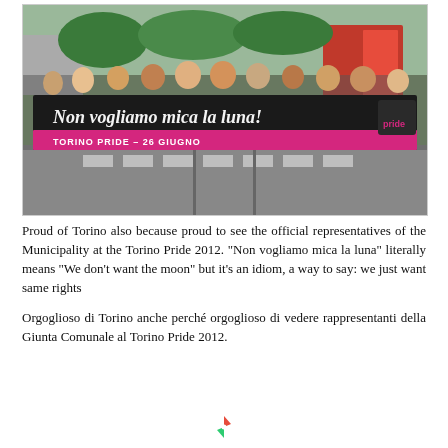[Figure (photo): Outdoor photograph of a group of people at the Torino Pride 2012 march, holding a large black and pink banner reading 'Non vogliamo mica la luna!' and 'TORINO PRIDE – 26 GIUGNO', with trees and buildings visible in the background.]
Proud of Torino also because proud to see the official representatives of the Municipality at the Torino Pride 2012. "Non vogliamo mica la luna" literally means "We don't want the moon" but it's an idiom, a way to say: we just want same rights
Orgoglioso di Torino anche perché orgoglioso di vedere rappresentanti della Giunta Comunale al Torino Pride 2012.
[Figure (logo): Small colorful pinwheel/windmill logo at bottom center of page.]